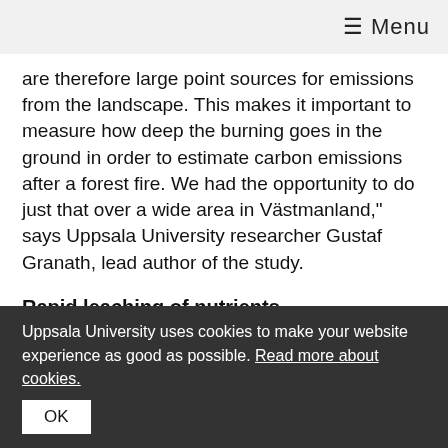☰ Menu
are therefore large point sources for emissions from the landscape. This makes it important to measure how deep the burning goes in the ground in order to estimate carbon emissions after a forest fire. We had the opportunity to do just that over a wide area in Västmanland," says Uppsala University researcher Gustaf Granath, lead author of the study.
Rapid leaching of nutrients
The loss of the humus layer releases large amounts of carbon and nitrogen from woodland and risks other nutrients leaching out after the fire. It is therefore important
Uppsala University uses cookies to make your website experience as good as possible. Read more about cookies.